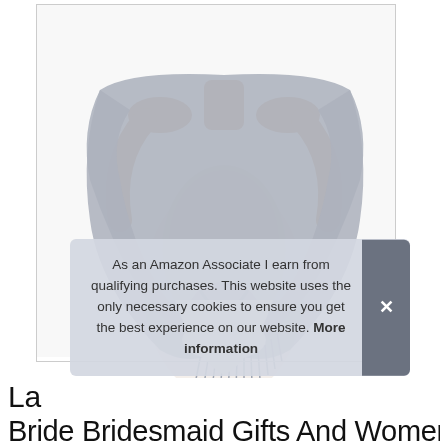[Figure (photo): A woman wearing a light gray pashmina/shawl wrap draped over her shoulders and tied in front, wearing a white lace sleeveless dress underneath. The shawl has fringe at the ends. The background is white.]
As an Amazon Associate I earn from qualifying purchases. This website uses the only necessary cookies to ensure you get the best experience on our website. More information
La... Bride Bridesmaid Gifts And Womens